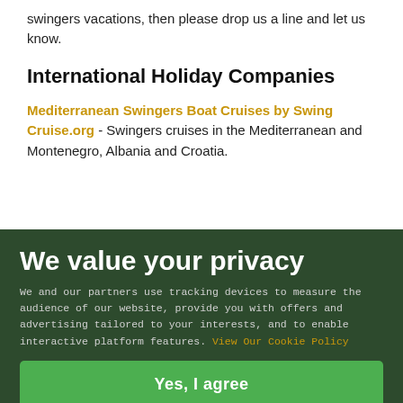swingers vacations, then please drop us a line and let us know.
International Holiday Companies
Mediterranean Swingers Boat Cruises by Swing Cruise.org - Swingers cruises in the Mediterranean and Montenegro, Albania and Croatia.
Australia
The White Cockatoo (Mossman), swingers holidays are in March each year only)
We value your privacy
We and our partners use tracking devices to measure the audience of our website, provide you with offers and advertising tailored to your interests, and to enable interactive platform features. View Our Cookie Policy
Yes, I agree
If you do not agree, please discontinue use of the site
https://www.copacabanadesuesuotel.com/ - Resort